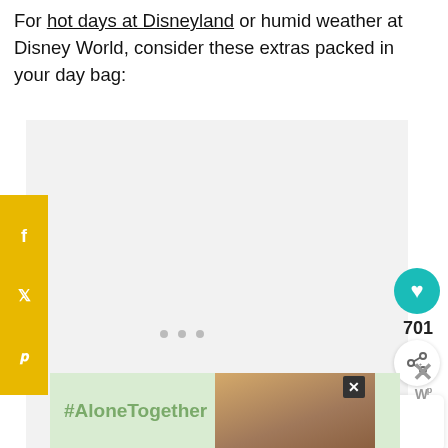For hot days at Disneyland or humid weather at Disney World, consider these extras packed in your day bag:
[Figure (other): Gray content placeholder box with three dots indicating loading or ad content]
[Figure (infographic): Yellow social share sidebar with Facebook, Twitter, and Pinterest icons]
[Figure (infographic): Teal heart/save button showing count 701, and share button]
[Figure (infographic): What's Next panel showing Disney Packing List article thumbnail link]
[Figure (other): Ad banner with #AloneTogether text and photo of people, with close buttons]